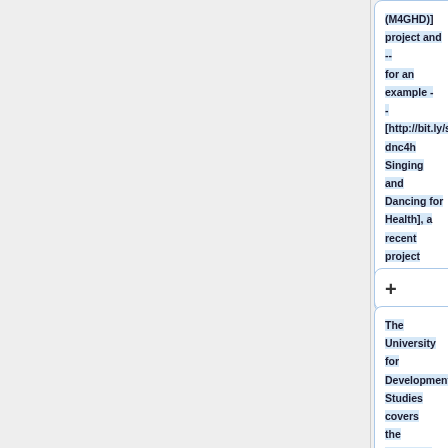(M4GHD)] project and -- for an example -- [http://bit.ly/sngdnc4h Singing and Dancing for Health], a recent project in Northern Ghana.
+
The University for Development Studies covers the spectrum of academic disciplines, with a focus on development. The faculty...